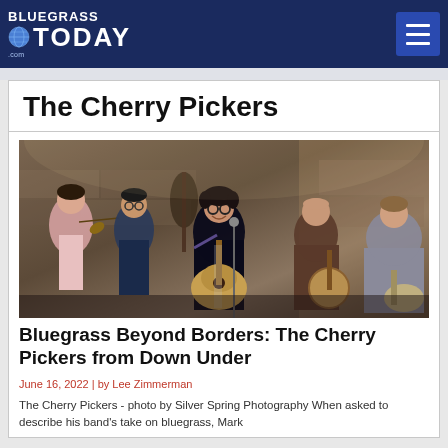BLUEGRASS TODAY
The Cherry Pickers
[Figure (photo): Band photo of The Cherry Pickers performing — multiple musicians playing fiddle, guitar, banjo, double bass, and other instruments in a rustic stone-walled venue. Photo by Silver Spring Photography.]
Bluegrass Beyond Borders: The Cherry Pickers from Down Under
June 16, 2022 | by Lee Zimmerman
The Cherry Pickers - photo by Silver Spring Photography When asked to describe his band's take on bluegrass, Mark